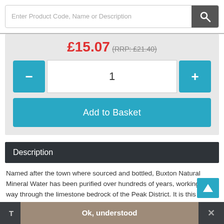Enter Product Code, Name or Description
£15.07 (RRP: £21.40)
1
Add to Basket
Description
Named after the town where sourced and bottled, Buxton Natural Mineral Water has been purified over hundreds of years, working its way through the limestone bedrock of the Peak District. It is this journey that lends Buxton water its refreshing taste and rejuvenating mineral content. This pack
Ok, understood